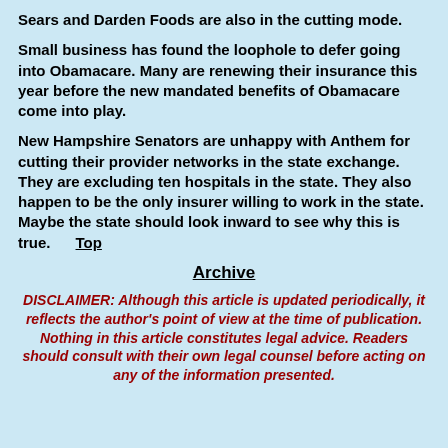Sears and Darden Foods are also in the cutting mode.
Small business has found the loophole to defer going into Obamacare.  Many are renewing their insurance this year before the new mandated benefits of Obamacare come into play.
New Hampshire Senators are unhappy with Anthem for cutting their provider networks in the state exchange.  They are excluding ten hospitals in the state.  They also happen to be the only insurer willing to work in the state.  Maybe the state should look inward to see why this is true.   Top
Archive
DISCLAIMER: Although this article is updated periodically, it reflects the author's point of view at the time of publication. Nothing in this article constitutes legal advice. Readers should consult with their own legal counsel before acting on any of the information presented.